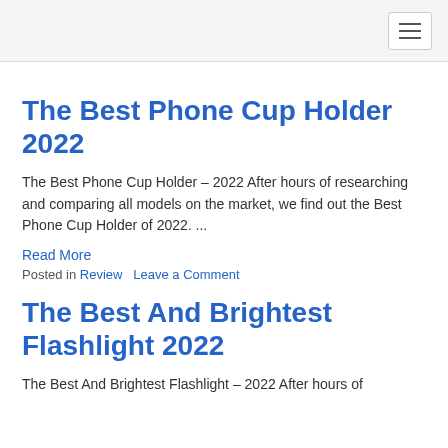The Best Phone Cup Holder 2022
The Best Phone Cup Holder – 2022 After hours of researching and comparing all models on the market, we find out the Best Phone Cup Holder of 2022. ...
Read More
Posted in Review   Leave a Comment
The Best And Brightest Flashlight 2022
The Best And Brightest Flashlight – 2022 After hours of